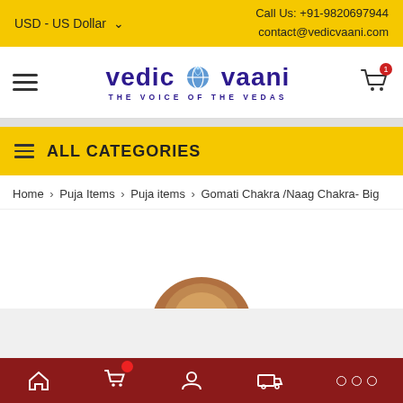USD - US Dollar  |  Call Us: +91-9820697944  contact@vedicvaani.com
[Figure (logo): Vedic Vaani logo with globe icon and tagline THE VOICE OF THE VEDAS]
ALL CATEGORIES
Home > Puja Items > Puja items > Gomati Chakra /Naag Chakra- Big
[Figure (photo): Product image area showing partial image of Gomati Chakra /Naag Chakra - Big]
Home | Cart | Account | Shipping | More